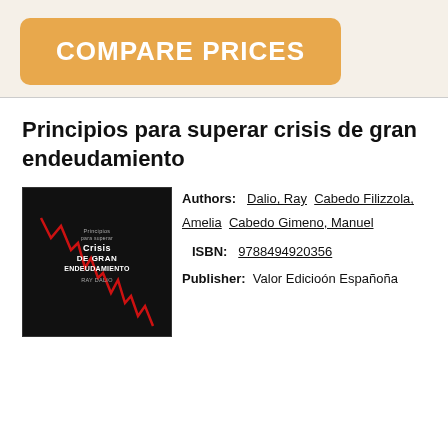[Figure (other): Orange rounded rectangle button with text COMPARE PRICES in white bold uppercase letters]
Principios para superar crisis de gran endeudamiento
[Figure (photo): Book cover: black background with red line chart going downward, text 'Principios para superar Crisis DE GRAN ENDEUDAMIENTO RAY DALIO' in white and red]
Authors: Dalio, Ray Cabedo Filizzola, Amelia Cabedo Gimeno, Manuel
ISBN: 9788494920356
Publisher: Valor Ediciones Española